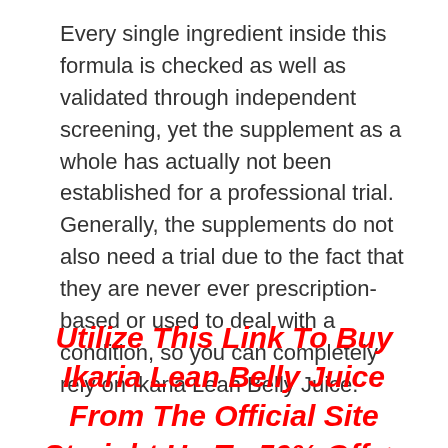Every single ingredient inside this formula is checked as well as validated through independent screening, yet the supplement as a whole has actually not been established for a professional trial. Generally, the supplements do not also need a trial due to the fact that they are never ever prescription-based or used to deal with a condition, so you can completely rely on Ikaria Lean Belly Juice.
Utilize This Link To Buy Ikaria Lean Belly Juice From The Official Site Straight Up To 50% Off ->